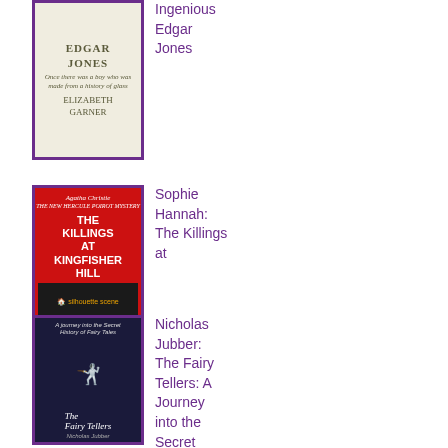[Figure (illustration): Book cover: Edgar Jones by Elizabeth Garner, decorative ornamental style with light background and purple border]
Ingenious Edgar Jones
[Figure (illustration): Book cover: The Killings at Kingfisher Hill by Sophie Hannah (Agatha Christie Hercule Poirot Mystery), red background with white text and silhouette of house with trees, purple border]
Sophie Hannah: The Killings at Kingfisher Hill
Kingfisher Hill
[Figure (illustration): Book cover: The Fairy Tellers by Nicholas Jubber, dark blue/black background with red costumed figures, purple border]
Nicholas Jubber: The Fairy Tellers: A Journey into the Secret History of